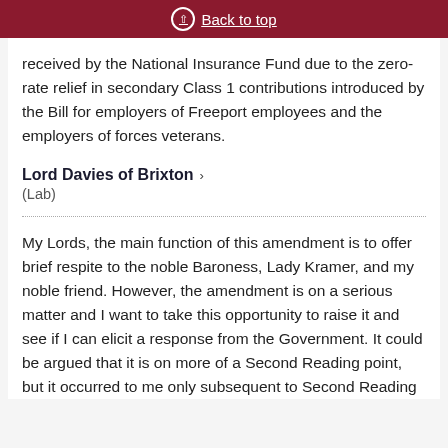Back to top
received by the National Insurance Fund due to the zero-rate relief in secondary Class 1 contributions introduced by the Bill for employers of Freeport employees and the employers of forces veterans.
Lord Davies of Brixton
(Lab)
My Lords, the main function of this amendment is to offer brief respite to the noble Baroness, Lady Kramer, and my noble friend. However, the amendment is on a serious matter and I want to take this opportunity to raise it and see if I can elicit a response from the Government. It could be argued that it is on more of a Second Reading point, but it occurred to me only subsequent to Second Reading...